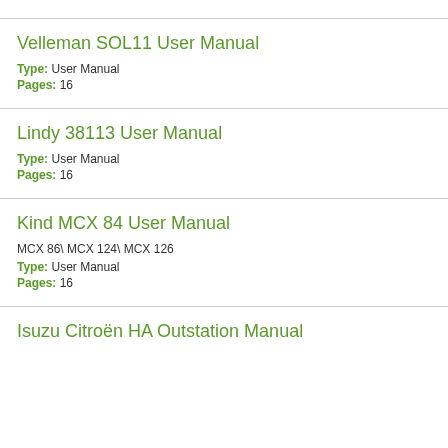Velleman SOL11 User Manual
Type: User Manual
Pages: 16
Lindy 38113 User Manual
Type: User Manual
Pages: 16
Kind MCX 84 User Manual
MCX 86\ MCX 124\ MCX 126
Type: User Manual
Pages: 16
Isuzu Citroën HA Outstation Manual